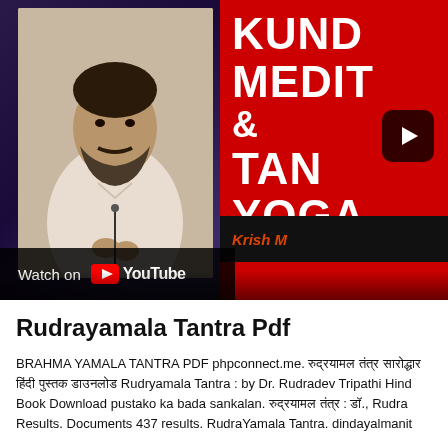[Figure (screenshot): YouTube video thumbnail/embed showing a bearded man in cream kurta on left side with dark purple/galaxy background, and a red book cover on right showing partial text 'KUND MEDIT & TAN YOGA' with 'Krish M' visible. A 'Watch on YouTube' bar appears at bottom left.]
Rudrayamala Tantra Pdf
BRAHMA YAMALA TANTRA PDF phpconnect.me. रुद्रयामल तंत्र सारोद्धार हिंदी पुस्तक Rudryamala Tantra : by Dr. Rudradev Tripathi Hind Book Download pustako ka bada sankalan. रुद्रयामल तंत्र : डॉ., Rudra Results. Documents 437 results. RudraYamala Tantra. dindayalmanit